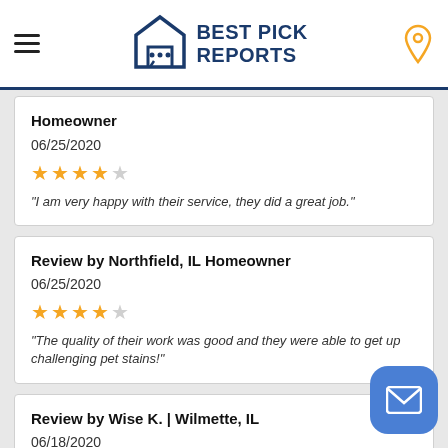Best Pick Reports
Homeowner
06/25/2020
★★★★★
"I am very happy with their service, they did a great job."
Review by Northfield, IL Homeowner
06/25/2020
★★★★★
"The quality of their work was good and they were able to get up challenging pet stains!"
Review by Wise K. | Wilmette, IL
06/18/2020
★★★★★
"I am delighted with the cleaning done on my heavily used stair and hallway area. I was astounded however in how quickly it was